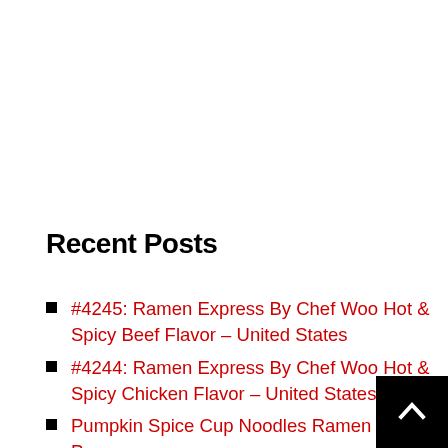Recent Posts
#4245: Ramen Express By Chef Woo Hot & Spicy Beef Flavor – United States
#4244: Ramen Express By Chef Woo Hot & Spicy Chicken Flavor – United States
Pumpkin Spice Cup Noodles Ramen Pizza Part…
#4243: Ramen Express By Chef Woo Magic…